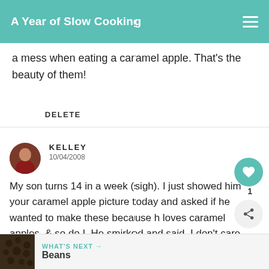A Year of Slow Cooking
a mess when eating a caramel apple. That's the beauty of them!
DELETE
KELLEY
10/04/2008
My son turns 14 in a week (sigh). I just showed him your caramel apple picture today and asked if he wanted to make these because he loves caramel apples, & so do I. He smirked and said, I don't care (his typical response to anything I suggest these days). I lo and said, " I saw the twinkle in your when you saw those caramel apples. We're going to make these today and I know you just
WHAT'S NEXT → Beans